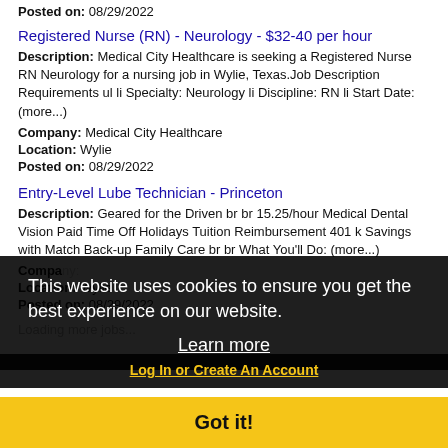Posted on: 08/29/2022
Registered Nurse (RN) - Neurology - $32-40 per hour
Description: Medical City Healthcare is seeking a Registered Nurse RN Neurology for a nursing job in Wylie, Texas.Job Description Requirements ul li Specialty: Neurology li Discipline: RN li Start Date: (more...)
Company: Medical City Healthcare
Location: Wylie
Posted on: 08/29/2022
Entry-Level Lube Technician - Princeton
Description: Geared for the Driven br br 15.25/hour Medical Dental Vision Paid Time Off Holidays Tuition Reimbursement 401 k Savings with Match Back-up Family Care br br What You'll Do: (more...)
Company:
Location: Wylie
Posted on: 08/29/2022
Loading more jobs...
This website uses cookies to ensure you get the best experience on our website.
Learn more
Got it!
Log In or Create An Account
Username: